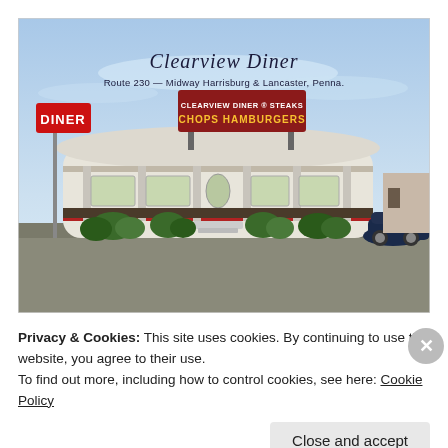[Figure (illustration): Vintage linen postcard illustration of Clearview Diner, a streamlined Art Deco diner building with a red sign reading 'DINER' on the left, a large billboard sign reading 'CLEARVIEW DINER STEAKS CHOPS HAMBURGERS', decorative shrubbery, a classic car visible on the right, set against a blue sky. Text on image reads 'Clearview Diner' in script and 'Route 230 — Midway Harrisburg & Lancaster, Penna.' below.]
Privacy & Cookies: This site uses cookies. By continuing to use this website, you agree to their use.
To find out more, including how to control cookies, see here: Cookie Policy